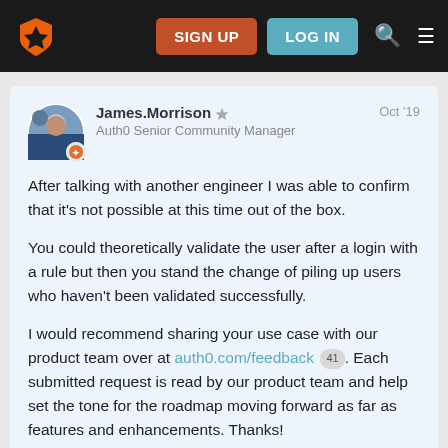SIGN UP  LOG IN
James.Morrison
Auth0 Senior Community Manager
Oct '19
After talking with another engineer I was able to confirm that it's not possible at this time out of the box.

You could theoretically validate the user after a login with a rule but then you stand the change of piling up users who haven't been validated successfully.

I would recommend sharing your use case with our product team over at auth0.com/feedback 41. Each submitted request is read by our product team and help set the tone for the roadmap moving forward as far as features and enhancements. Thanks!
7 / 8
✓ Solu